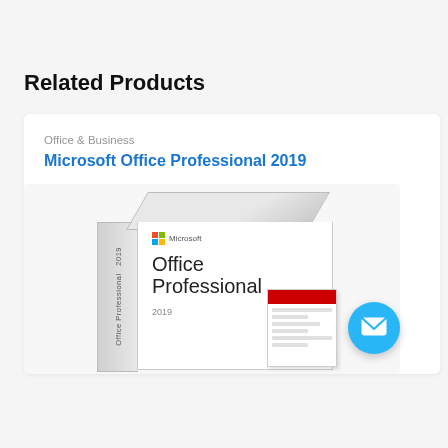Related Products
Office & Business
Microsoft Office Professional 2019
[Figure (photo): Microsoft Office Professional 2019 product box with spine and a small booklet overlay, shown on a light grey background.]